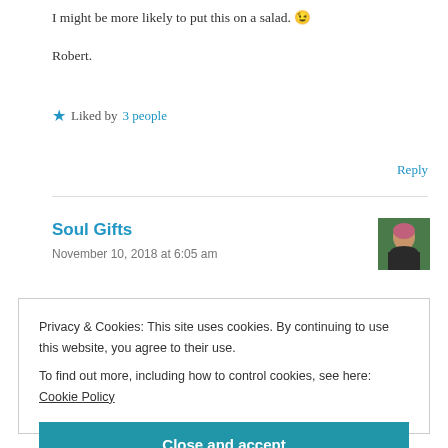I might be more likely to put this on a salad. 😉
Robert.
★ Liked by 3 people
Reply
Soul Gifts
November 10, 2018 at 6:05 am
[Figure (photo): Avatar photo of Soul Gifts commenter]
Privacy & Cookies: This site uses cookies. By continuing to use this website, you agree to their use. To find out more, including how to control cookies, see here: Cookie Policy
Close and accept